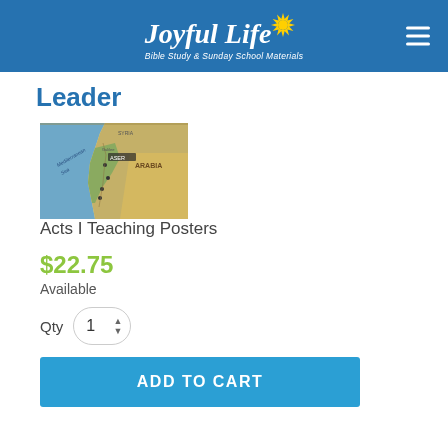[Figure (logo): Joyful Life Bible Study & Sunday School Materials logo with sun graphic on blue header background]
Leader
[Figure (map): Map showing the Mediterranean Sea region including ancient lands such as Arabia, used as a teaching poster for Acts I]
Acts I Teaching Posters
$22.75
Available
Qty 1
ADD TO CART